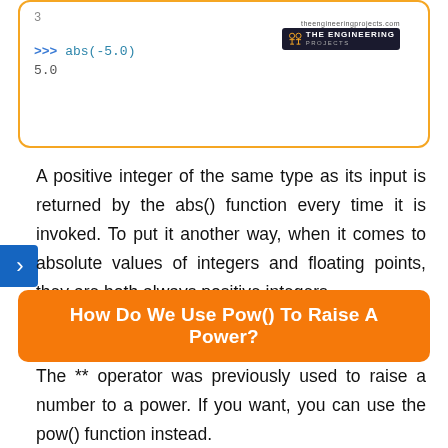[Figure (screenshot): Python REPL code box showing: line number 3, then '>>> abs(-5.0)' and result '5.0', with The Engineering Projects logo in top right]
A positive integer of the same type as its input is returned by the abs() function every time it is invoked. To put it another way, when it comes to absolute values of integers and floating points, they are both always positive integers.
How Do We Use Pow() To Raise A Power?
The ** operator was previously used to raise a number to a power. If you want, you can use the pow() function instead.